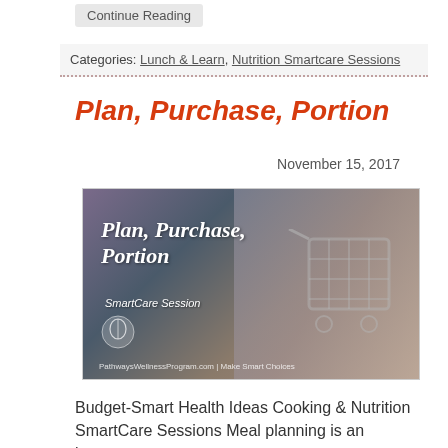Continue Reading
Categories: Lunch & Learn, Nutrition Smartcare Sessions
Plan, Purchase, Portion
November 15, 2017
[Figure (photo): Promotional image for 'Plan, Purchase, Portion SmartCare Session' showing a person pushing a shopping cart. Text overlay reads 'Plan, Purchase, Portion SmartCare Session'. PathwaysWellnessProgram.com | Make Smart Choices]
Budget-Smart Health Ideas Cooking & Nutrition SmartCare Sessions Meal planning is an important